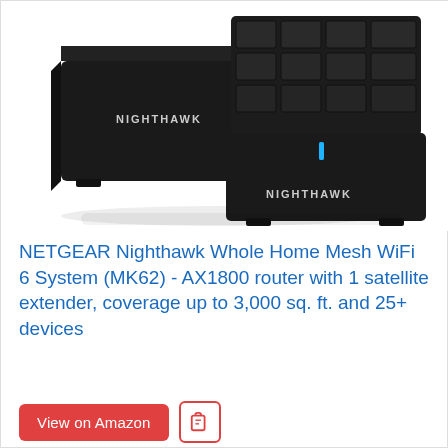[Figure (photo): Two black NETGEAR Nighthawk mesh WiFi devices (routers/extenders) on a white background. The foreground device has a grid-pattern textured top and a blue LED indicator light, with 'NIGHTHAWK' text on the front. The background device also shows 'NIGHTHAWK' branding.]
NETGEAR Nighthawk Whole Home Mesh WiFi 6 System (MK62) - AX1800 router with 1 satellite extender, coverage up to 3,000 sq. ft. and 25+ devices